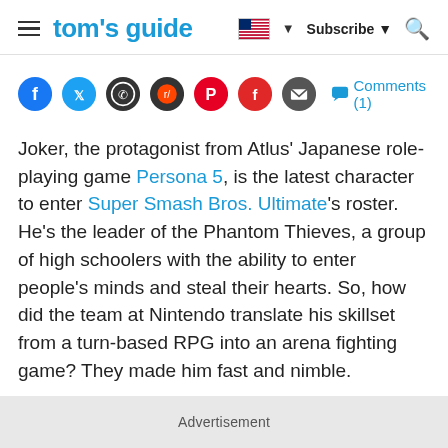tom's guide | Subscribe
[Figure (other): Social sharing icons row: Facebook, Twitter, WhatsApp, Reddit, Pinterest, Flipboard, Email, and Comments (1) link]
Joker, the protagonist from Atlus' Japanese role-playing game Persona 5, is the latest character to enter Super Smash Bros. Ultimate's roster. He's the leader of the Phantom Thieves, a group of high schoolers with the ability to enter people's minds and steal their hearts. So, how did the team at Nintendo translate his skillset from a turn-based RPG into an arena fighting game? They made him fast and nimble.
Advertisement